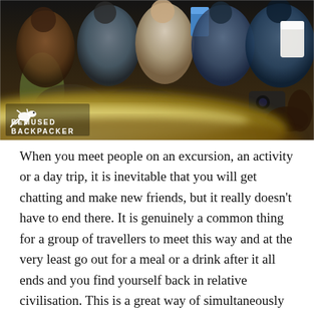[Figure (photo): A group of people sitting together, some holding cups, with a large blurred bowl or dish in the foreground. A 'Bemused Backpacker' logo with a lizard icon is visible in the lower-left corner of the image.]
When you meet people on an excursion, an activity or a day trip, it is inevitable that you will get chatting and make new friends, but it really doesn't have to end there. It is genuinely a common thing for a group of travellers to meet this way and at the very least go out for a meal or a drink after it all ends and you find yourself back in relative civilisation. This is a great way of simultaneously solving the problem of eating alone too if that is something you haven't quite gotten used to yet. Quite often if solo travellers hit it off they may travel together for a few days